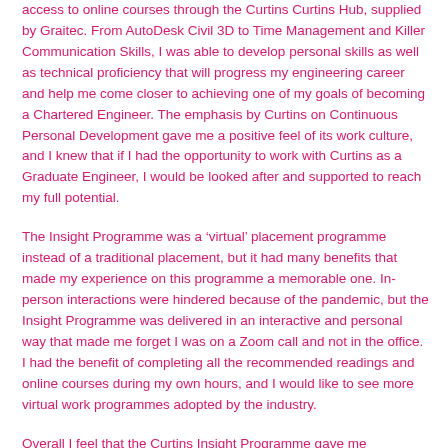access to online courses through the Curtins Curtins Hub, supplied by Graitec. From AutoDesk Civil 3D to Time Management and Killer Communication Skills, I was able to develop personal skills as well as technical proficiency that will progress my engineering career and help me come closer to achieving one of my goals of becoming a Chartered Engineer. The emphasis by Curtins on Continuous Personal Development gave me a positive feel of its work culture, and I knew that if I had the opportunity to work with Curtins as a Graduate Engineer, I would be looked after and supported to reach my full potential.
The Insight Programme was a ‘virtual’ placement programme instead of a traditional placement, but it had many benefits that made my experience on this programme a memorable one. In-person interactions were hindered because of the pandemic, but the Insight Programme was delivered in an interactive and personal way that made me forget I was on a Zoom call and not in the office. I had the benefit of completing all the recommended readings and online courses during my own hours, and I would like to see more virtual work programmes adopted by the industry.
Overall I feel that the Curtins Insight Programme gave me invaluable knowledge and experience from across the industry, while having fun and building meaningful relationships with graduates, managers and Curtins’ senior leadership team, and hopefully future colleagues.